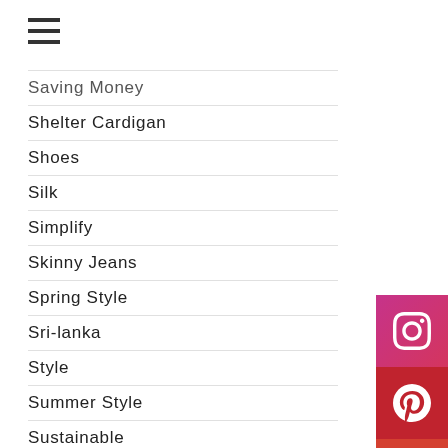[Figure (other): Hamburger menu icon (three horizontal lines)]
Saving Money
Shelter Cardigan
Shoes
Silk
Simplify
Skinny Jeans
Spring Style
Sri-lanka
Style
Summer Style
Sustainable
Sweaters
Tech
[Figure (other): Instagram social media icon button (pink/magenta)]
[Figure (other): Pinterest social media icon button (dark red)]
[Figure (other): Email/envelope icon button (red-orange)]
[Figure (other): YouTube social media icon button (red)]